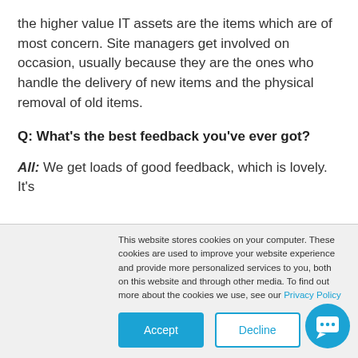the higher value IT assets are the items which are of most concern. Site managers get involved on occasion, usually because they are the ones who handle the delivery of new items and the physical removal of old items.
Q: What's the best feedback you've ever got?
All: We get loads of good feedback, which is lovely. It's
This website stores cookies on your computer. These cookies are used to improve your website experience and provide more personalized services to you, both on this website and through other media. To find out more about the cookies we use, see our Privacy Policy
We won't track your information when you visit our site. But in order to comply with your preferences, we'll have to use just one tiny cookie so that you're not asked to make this choice again.